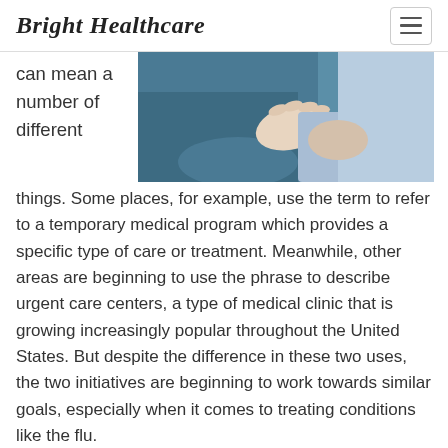Bright Healthcare
[Figure (photo): A healthcare provider placing a hand on a patient's shoulder, both partially visible. The patient is wearing a teal/blue garment and the provider is in light blue scrubs or top.]
can mean a number of different things. Some places, for example, use the term to refer to a temporary medical program which provides a specific type of care or treatment. Meanwhile, other areas are beginning to use the phrase to describe urgent care centers, a type of medical clinic that is growing increasingly popular throughout the United States. But despite the difference in these two uses, the two initiatives are beginning to work towards similar goals, especially when it comes to treating conditions like the flu.
On January 14, the Peninsula Regional Medical Center